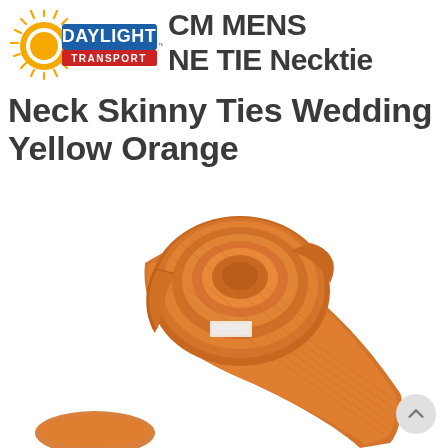[Figure (logo): Daylight Transport logo — circular sunburst in yellow/orange on the left, 'DAYLIGHT' in bold white text on a blue rectangle, 'TRANSPORT' in smaller text on a red bar below]
CM MENS NE TIE Necktie Neck Skinny Ties Wedding Yellow Orange
[Figure (photo): A rolled/coiled orange-yellow skinny necktie lying on a white background, showing the fabric texture and rolled end with a label partially visible]